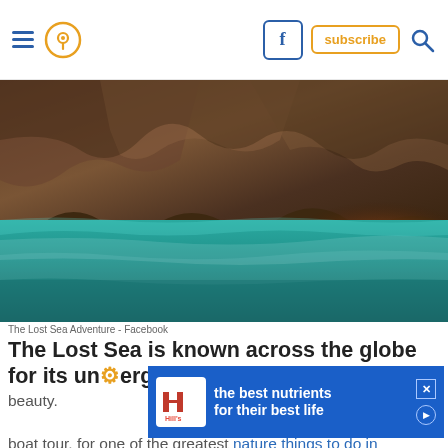Navigation bar with hamburger menu, location pin icon, Facebook button, subscribe button, search icon
[Figure (photo): Underground cave with turquoise/teal water below rocky cave ceiling, with warm orange glow in background]
The Lost Sea Adventure - Facebook
The Lost Sea is known across the globe for its underground beauty.
...the largest underground lake in the US, located in Sweetwater, Tennessee. Add it to your wildlife and nature bucket life, bucket list. Take the glass bottomed boat tour, for one of the greatest nature things to do in Nashville - it's 100% worth it.
[Figure (infographic): Hill's Pet Nutrition advertisement banner: 'the best nutrients for their best life' with Hill's logo]